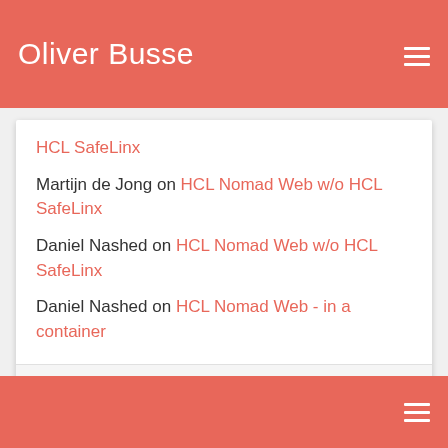Oliver Busse
HCL SafeLinx
Martijn de Jong on HCL Nomad Web w/o HCL SafeLinx
Daniel Nashed on HCL Nomad Web w/o HCL SafeLinx
Daniel Nashed on HCL Nomad Web - in a container
View all comments